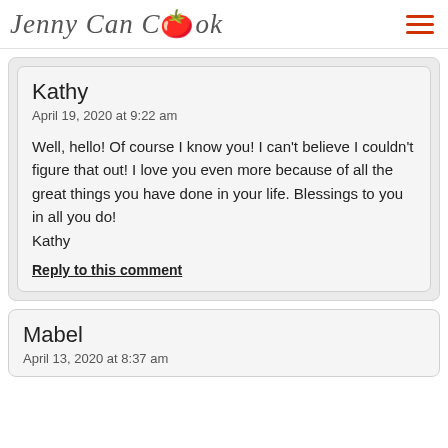Jenny Can Cook
Kathy
April 19, 2020 at 9:22 am

Well, hello! Of course I know you! I can't believe I couldn't figure that out! I love you even more because of all the great things you have done in your life. Blessings to you in all you do!
Kathy

Reply to this comment
Mabel
April 13, 2020 at 8:37 am